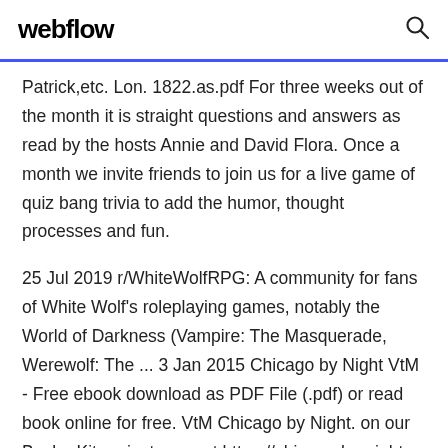webflow
Patrick,etc. Lon. 1822.as.pdf For three weeks out of the month it is straight questions and answers as read by the hosts Annie and David Flora. Once a month we invite friends to join us for a live game of quiz bang trivia to add the humor, thought processes and fun.
25 Jul 2019 r/WhiteWolfRPG: A community for fans of White Wolf's roleplaying games, notably the World of Darkness (Vampire: The Masquerade, Werewolf: The ... 3 Jan 2015 Chicago by Night VtM - Free ebook download as PDF File (.pdf) or read book online for free. VtM Chicago by Night. on our BackerKit project page at https://chicago-by-night-